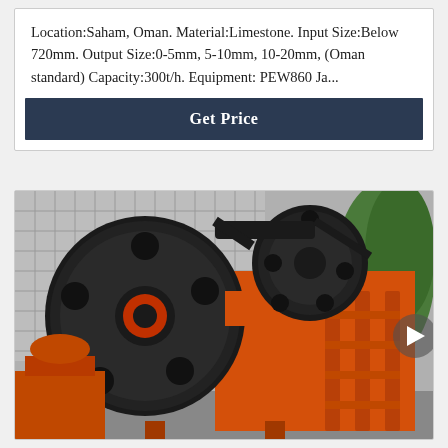Location:Saham, Oman. Material:Limestone. Input Size:Below 720mm. Output Size:0-5mm, 5-10mm, 10-20mm, (Oman standard) Capacity:300t/h. Equipment: PEW860 Ja...
Get Price
[Figure (photo): Large orange industrial jaw crusher machine with two large black flywheels/pulleys, photographed outdoors with a building and trees visible in the background. A smaller orange crusher is visible at lower left.]